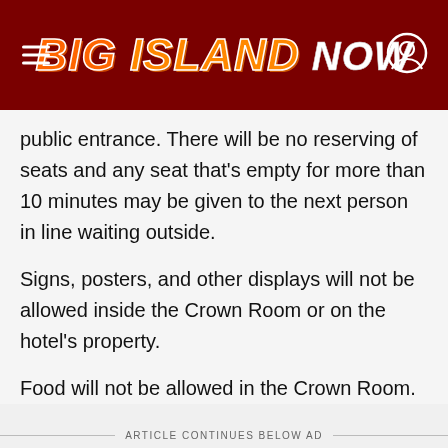Big Island NOW
public entrance. There will be no reserving of seats and any seat that's empty for more than 10 minutes may be given to the next person in line waiting outside.
Signs, posters, and other displays will not be allowed inside the Crown Room or on the hotel's property.
Food will not be allowed in the Crown Room.
ARTICLE CONTINUES BELOW AD
Injured in an accident? Call the Law Offices of Jan K. Apo now, they can help you!